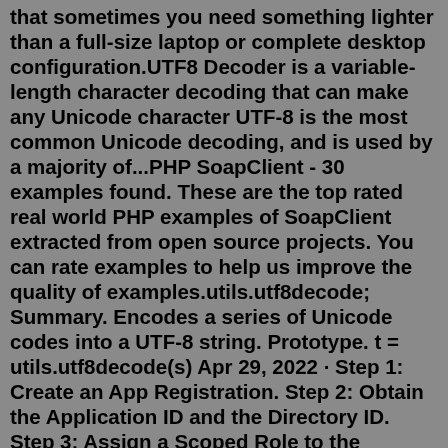that sometimes you need something lighter than a full-size laptop or complete desktop configuration.UTF8 Decoder is a variable-length character decoding that can make any Unicode character UTF-8 is the most common Unicode decoding, and is used by a majority of...PHP SoapClient - 30 examples found. These are the top rated real world PHP examples of SoapClient extracted from open source projects. You can rate examples to help us improve the quality of examples.utils.utf8decode; Summary. Encodes a series of Unicode codes into a UTF-8 string. Prototype. t = utils.utf8decode(s) Apr 29, 2022 · Step 1: Create an App Registration. Step 2: Obtain the Application ID and the Directory ID. Step 3: Assign a Scoped Role to the Application. Step 4: Generate a Client Secret for the Application. Grant Access to Warehouse or Database for External Tables Access. Convert Unicode characters in UTF-16, UTF-8, and UTF-32 formats to their Unicode and decimal representations and vice versa. In addition, percent